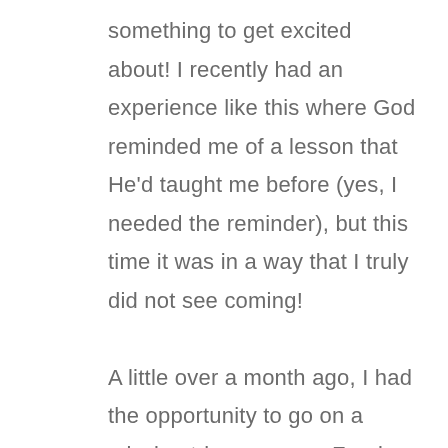something to get excited about! I recently had an experience like this where God reminded me of a lesson that He'd taught me before (yes, I needed the reminder), but this time it was in a way that I truly did not see coming!

A little over a month ago, I had the opportunity to go on a mission trip overseas. Foreign missions is something that I have experienced many times in the past, but this particular trip was nothing like anything I'd done before. This trip would completely remove me from my comfort zone. It would